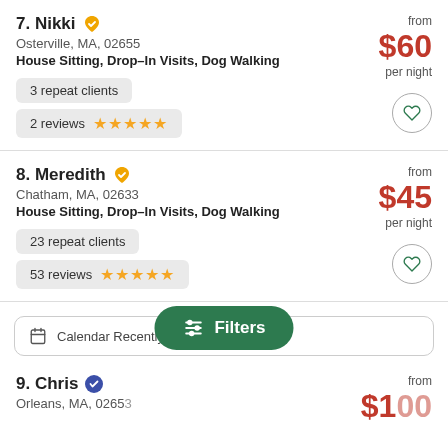7. Nikki — Osterville, MA, 02655 — House Sitting, Drop-In Visits, Dog Walking — 3 repeat clients — 2 reviews — ★★★★★ — from $60 per night
8. Meredith — Chatham, MA, 02633 — House Sitting, Drop-In Visits, Dog Walking — 23 repeat clients — 53 reviews — ★★★★★ — from $45 per night
Calendar Recently
Filters
9. Chris — Orleans, MA, 02653 — from $100